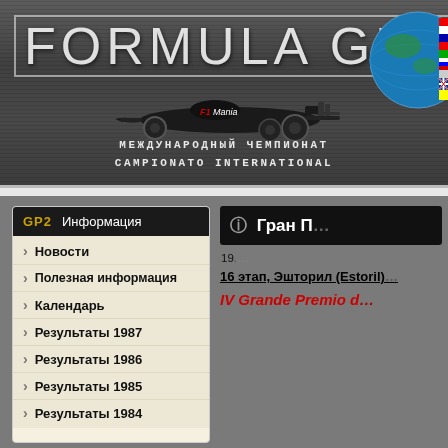[Figure (illustration): Formula GP2 website header banner with F1 car silhouette, globe with flags, and text FORMULA GP2 / МЕЖДУНАРОДНЫЙ ЧЕМПИОНАТ / CAMPIONATO INTERNATIONAL]
GP2   Информация
Новости
Полезная информация
Календарь
Результаты 1987
Результаты 1986
Результаты 1985
Результаты 1984
ⓘ Гран П...
19...
16 этап, Эшторил (Estoril)...
IV Grande Premio d...